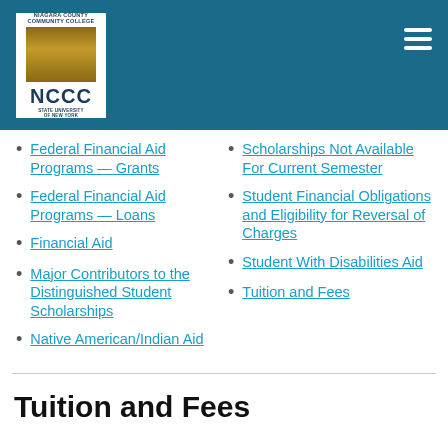NCCC - Niagara County Community College
Federal Financial Aid Programs — Grants
Federal Financial Aid Programs — Loans
Financial Aid
Major Contributors to the Distinguished Student Scholarships
Native American/Indian Aid
Scholarships Not Available For Current Semester
Student Financial Obligations and Eligibility for Reversal of Charges
Student With Disabilities Aid
Tuition and Fees
Tuition and Fees